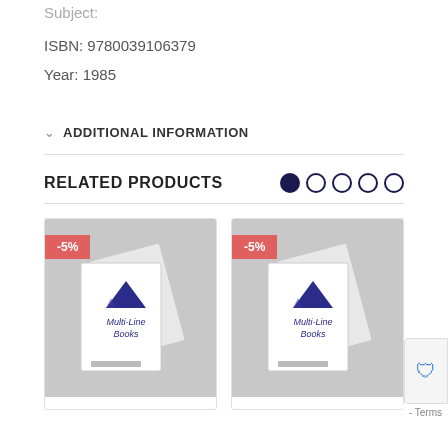Subject:
ISBN: 9780039106379
Year: 1985
ADDITIONAL INFORMATION
RELATED PRODUCTS
[Figure (illustration): Two product cards showing Multi-Line Books covers with -5% discount badges, on grey backgrounds]
[Figure (other): Partial reCAPTCHA widget and Terms overlay in bottom right corner]